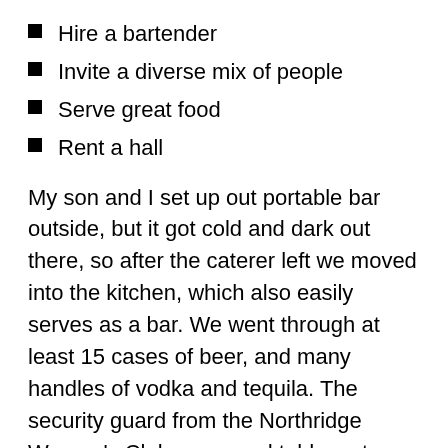Hire a bartender
Invite a diverse mix of people
Serve great food
Rent a hall
My son and I set up out portable bar outside, but it got cold and dark out there, so after the caterer left we moved into the kitchen, which also easily serves as a bar. We went through at least 15 cases of beer, and many handles of vodka and tequila. The security guard from the Northridge Women's Club came and told us at 11pm that we would have to stop serving at 11:45pm sharp. Some kind of fight broke out outside at 11:15, so that ended the party prematurely. Unfortunately, there are usually one or two troublemakers at every event.
This week I will be bartending at a Residential center in